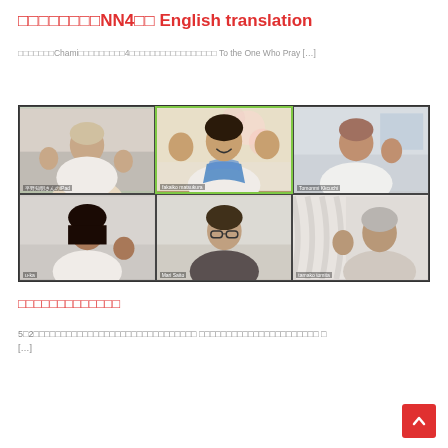□□□□□□□□NN4□□ English translation
□□□□□□□Chami□□□□□□□□□4□□□□□□□□□□□□□□□□□ To the One Who Pray [...]
[Figure (photo): Video conference call screenshot showing 6 participants in a 3x2 grid. Top row: elderly woman waving (平野知明さんのiPad), woman with colorful scarf waving with both hands highlighted in green border (fakaiko matsukura), woman in white waving (Tomonmi Kkcuchi). Bottom row: woman with dark hair waving (u-ka), woman with glasses (Mari Saito), older person by curtain waving (tamako tomita).]
□□□□□□□□□□□□□
5□2□□□□□□□□□□□□□□□□□□□□□□□□□□□□□□ □□□□□□□□□□□□□□□□□□□□□□ □
[...]